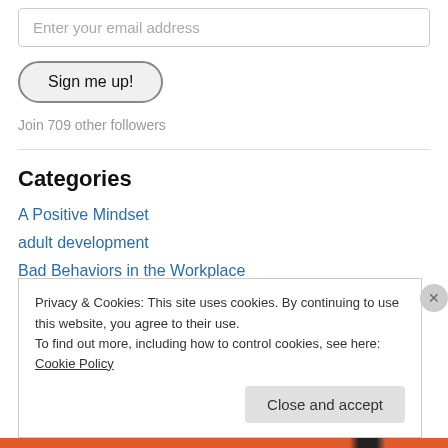Enter your email address
Sign me up!
Join 709 other followers
Categories
A Positive Mindset
adult development
Bad Behaviors in the Workplace
behavior modification
Privacy & Cookies: This site uses cookies. By continuing to use this website, you agree to their use.
To find out more, including how to control cookies, see here: Cookie Policy
Close and accept